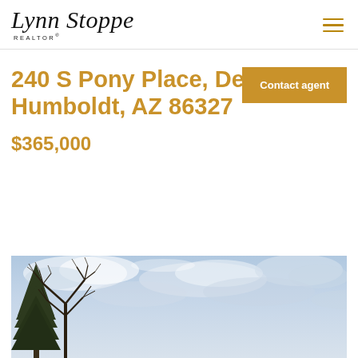[Figure (logo): Lynn Stoppe REALTOR logo in italic script]
Contact agent
240 S Pony Place, Dewey-Humboldt, AZ 86327
$365,000
[Figure (photo): Outdoor photo showing tree branches against a partly cloudy sky]